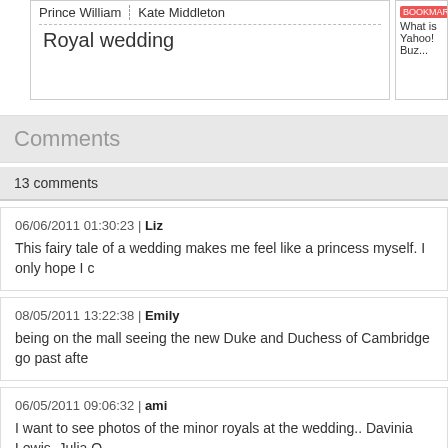Prince William | Kate Middleton | Royal wedding
What is Yahoo! Buz...
Comments
13 comments
06/06/2011 01:30:23 | Liz
This fairy tale of a wedding makes me feel like a princess myself. I only hope I c
08/05/2011 13:22:38 | Emily
being on the mall seeing the new Duke and Duchess of Cambridge go past afte
06/05/2011 09:06:32 | ami
I want to see photos of the minor royals at the wedding.. Davinia Lewis, Julia O It was a beautiful wedding. Definitely made the world stop and smile.